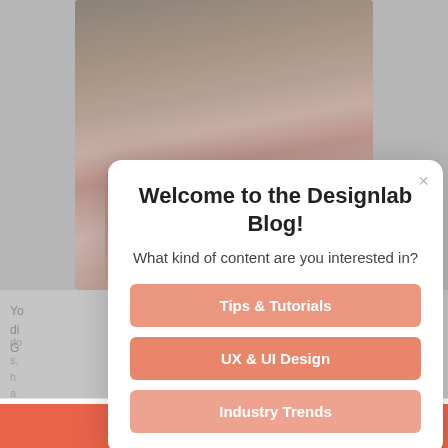[Figure (screenshot): Background blog page showing a photo of a person with curly hair wearing a pink/salmon scarf and tan coat, partially obscured by modal overlay. Behind modal is partially visible text of a blog post.]
Welcome to the Designlab Blog!
What kind of content are you interested in?
Tips & Tutorials
UX & UI Design
Industry Trends
This website uses cookies to ensure you get the best experience on our website.
Learn more
Got it!